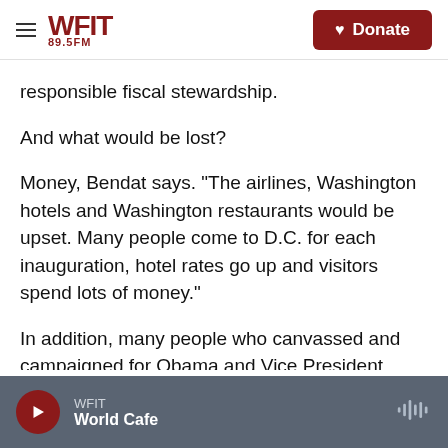WFIT 89.5FM | Donate
responsible fiscal stewardship.
And what would be lost?
Money, Bendat says. "The airlines, Washington hotels and Washington restaurants would be upset. Many people come to D.C. for each inauguration, hotel rates go up and visitors spend lots of money."
In addition, many people who canvassed and campaigned for Obama and Vice President Biden want to celebrate their hard work and victory. "But would the country as a whole really suffer if the
WFIT | World Cafe